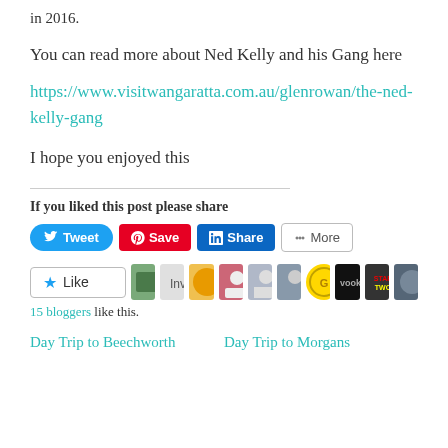in 2016.
You can read more about Ned Kelly and his Gang here
https://www.visitwangaratta.com.au/glenrowan/the-ned-kelly-gang
I hope you enjoyed this
If you liked this post please share
[Figure (screenshot): Social sharing buttons: Tweet (Twitter), Save (Pinterest), Share (LinkedIn), More]
[Figure (screenshot): Like button with star icon and blogger avatars row]
15 bloggers like this.
Day Trip to Beechworth
Day Trip to Morgans